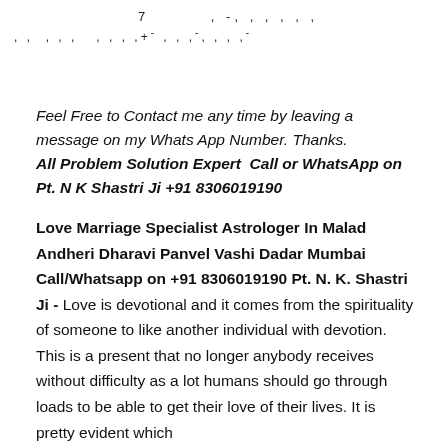7   , -, , , , , ,
, , , , ,   , , , ,+- , , ,-, , , ,-
Feel Free to Contact me any time by leaving a message on my Whats App Number. Thanks.
All Problem Solution Expert  Call or WhatsApp on Pt. N K Shastri Ji +91 8306019190
Love Marriage Specialist Astrologer In Malad Andheri Dharavi Panvel Vashi Dadar Mumbai Call/Whatsapp on +91 8306019190 Pt. N. K. Shastri Ji - Love is devotional and it comes from the spirituality of someone to like another individual with devotion. This is a present that no longer anybody receives without difficulty as a lot humans should go through loads to be able to get their love of their lives. It is pretty evident which